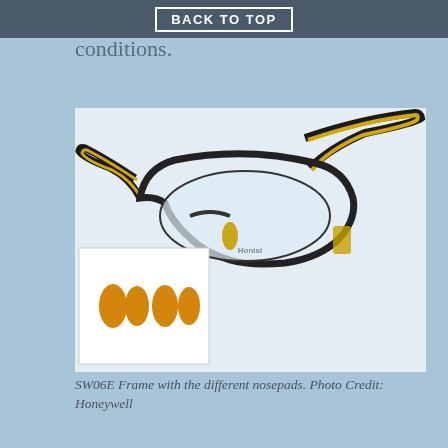BACK TO TOP
sweat when you're working in warmer conditions.
[Figure (photo): SW06E safety glasses frame with yellow/black arms and clear lenses, shown with three orange/yellow replacement nosepads in an inset image. Photo Credit: Honeywell]
SW06E Frame with the different nosepads. Photo Credit: Honeywell
The frame also comes in Orange / Black as well as an all black frame with smoke colored lenses already in it. You